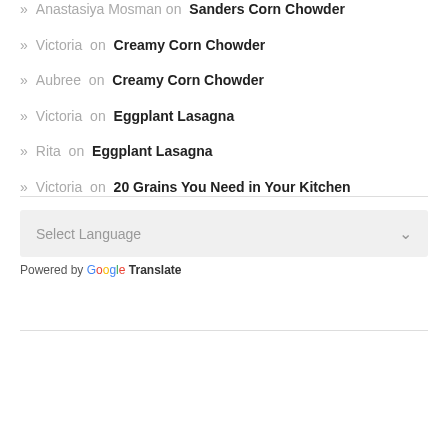Anastasiya Mosman on Sanders Corn Chowder
Victoria on Creamy Corn Chowder
Aubree on Creamy Corn Chowder
Victoria on Eggplant Lasagna
Rita on Eggplant Lasagna
Victoria on 20 Grains You Need in Your Kitchen
Select Language — Powered by Google Translate